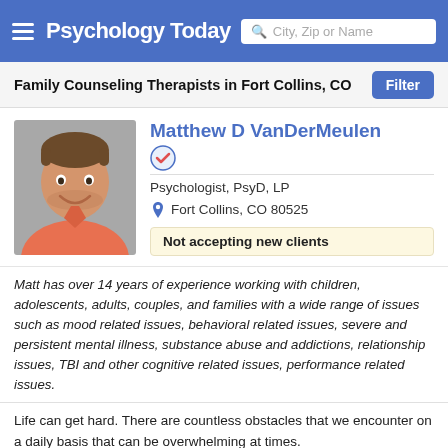Psychology Today | City, Zip or Name
Family Counseling Therapists in Fort Collins, CO
[Figure (photo): Headshot of Matthew D VanDerMeulen, a smiling man in a salmon/orange polo shirt]
Matthew D VanDerMeulen
Psychologist, PsyD, LP
Fort Collins, CO 80525
Not accepting new clients
Matt has over 14 years of experience working with children, adolescents, adults, couples, and families with a wide range of issues such as mood related issues, behavioral related issues, severe and persistent mental illness, substance abuse and addictions, relationship issues, TBI and other cognitive related issues, performance related issues.
Life can get hard. There are countless obstacles that we encounter on a daily basis that can be overwhelming at times.